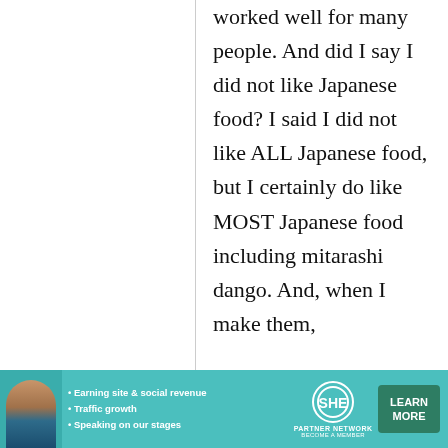worked well for many people. And did I say I did not like Japanese food? I said I did not like ALL Japanese food, but I certainly do like MOST Japanese food including mitarashi dango. And, when I make them,
[Figure (other): Advertisement banner for SHE Partner Network featuring a woman photo, bullet points about earning site & social revenue, traffic growth, speaking on our stages, SHE logo, and a Learn More button]